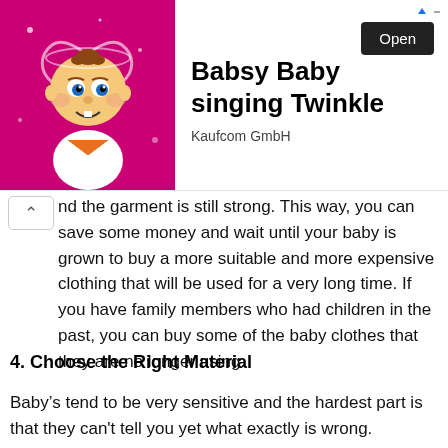[Figure (screenshot): Advertisement banner for Babsy Baby singing Twinkle app by Kaufcom GmbH with a cartoon baby image on a pink background and an Open button]
nd the garment is still strong. This way, you can save some money and wait until your baby is grown to buy a more suitable and more expensive clothing that will be used for a very long time. If you have family members who had children in the past, you can buy some of the baby clothes that they are no longer using.
4. Choose the Right Material
Baby’s tend to be very sensitive and the hardest part is that they can't tell you yet what exactly is wrong.